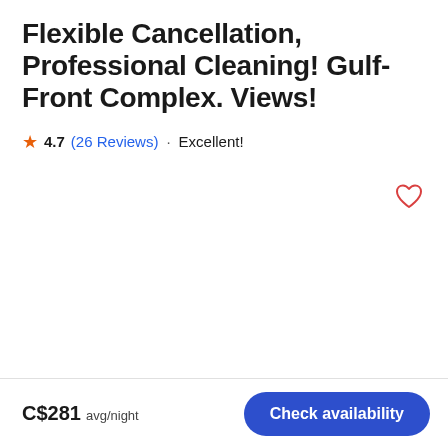Flexible Cancellation, Professional Cleaning! Gulf-Front Complex. Views!
4.7 (26 Reviews) · Excellent!
[Figure (illustration): Heart/favorite icon outline in red/coral color, positioned top-right area]
C$281 avg/night
Check availability